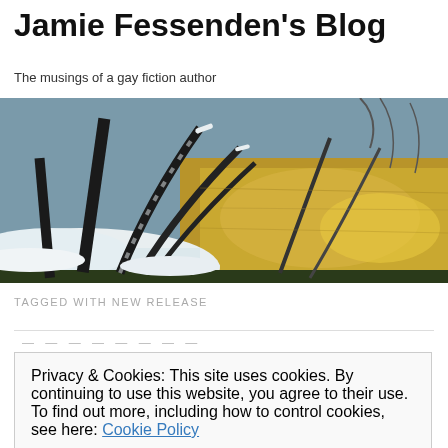Jamie Fessenden's Blog
The musings of a gay fiction author
[Figure (photo): Winter landscape banner photo showing snow-covered trees leaning over a reflective river or pond, with golden light on the water and snow on the ground]
TAGGED WITH NEW RELEASE
Privacy & Cookies: This site uses cookies. By continuing to use this website, you agree to their use.
To find out more, including how to control cookies, see here: Cookie Policy
Close and accept